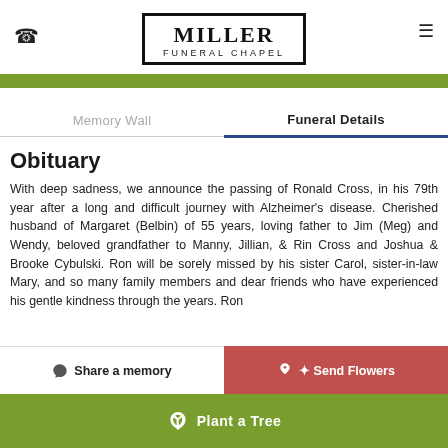MILLER FUNERAL CHAPEL
Memory Wall | Funeral Details
Obituary
With deep sadness, we announce the passing of Ronald Cross, in his 79th year after a long and difficult journey with Alzheimer's disease. Cherished husband of Margaret (Belbin) of 55 years, loving father to Jim (Meg) and Wendy, beloved grandfather to Manny, Jillian, & Rin Cross and Joshua & Brooke Cybulski. Ron will be sorely missed by his sister Carol, sister-in-law Mary, and so many family members and dear friends who have experienced his gentle kindness through the years. Ron
Share a memory
Send Flowers
Plant a Tree